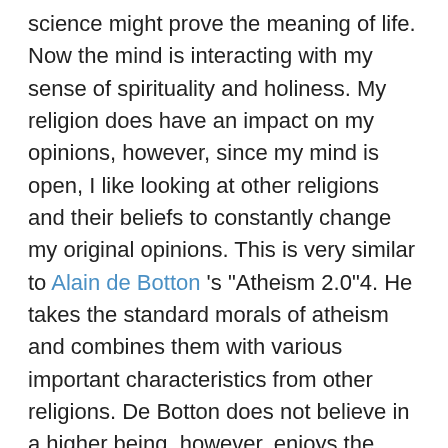science might prove the meaning of life. Now the mind is interacting with my sense of spirituality and holiness. My religion does have an impact on my opinions, however, since my mind is open, I like looking at other religions and their beliefs to constantly change my original opinions. This is very similar to Alain de Botton 's "Atheism 2.0"4. He takes the standard morals of atheism and combines them with various important characteristics from other religions. De Botton does not believe in a higher being, however, enjoys the cultures from many other religions, such as, education, …show more content… Some may argue that they aren 't related, however, I am open to that opinion and would like to generate a new area that I could